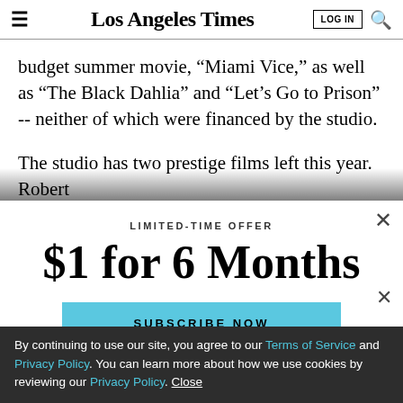Los Angeles Times
budget summer movie, “Miami Vice,” as well as “The Black Dahlia” and “Let’s Go to Prison” -- neither of which were financed by the studio.
The studio has two prestige films left this year. Robert
LIMITED-TIME OFFER
$1 for 6 Months
SUBSCRIBE NOW
By continuing to use our site, you agree to our Terms of Service and Privacy Policy. You can learn more about how we use cookies by reviewing our Privacy Policy. Close